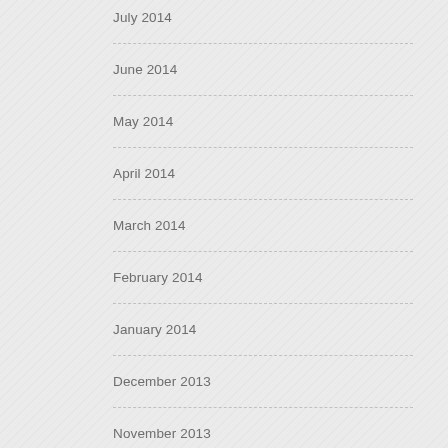July 2014
June 2014
May 2014
April 2014
March 2014
February 2014
January 2014
December 2013
November 2013